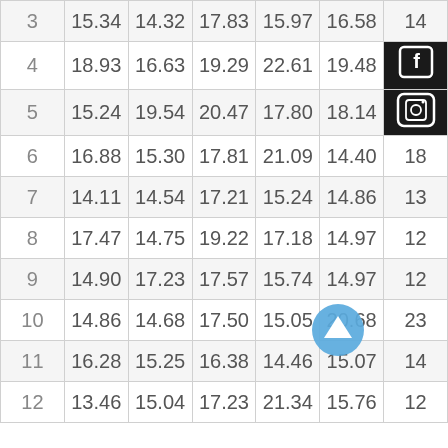|  | col1 | col2 | col3 | col4 | col5 | col6 |
| --- | --- | --- | --- | --- | --- | --- |
| 3 | 15.34 | 14.32 | 17.83 | 15.97 | 16.58 | 14 |
| 4 | 18.93 | 16.63 | 19.29 | 22.61 | 19.48 |  |
| 5 | 15.24 | 19.54 | 20.47 | 17.80 | 18.14 |  |
| 6 | 16.88 | 15.30 | 17.81 | 21.09 | 14.40 | 18 |
| 7 | 14.11 | 14.54 | 17.21 | 15.24 | 14.86 | 13 |
| 8 | 17.47 | 14.75 | 19.22 | 17.18 | 14.97 | 12 |
| 9 | 14.90 | 17.23 | 17.57 | 15.74 | 14.97 | 12 |
| 10 | 14.86 | 14.68 | 17.50 | 15.05 | 20.68 | 23 |
| 11 | 16.28 | 15.25 | 16.38 | 14.46 | 15.07 | 14 |
| 12 | 13.46 | 15.04 | 17.23 | 21.34 | 15.76 | 12 |